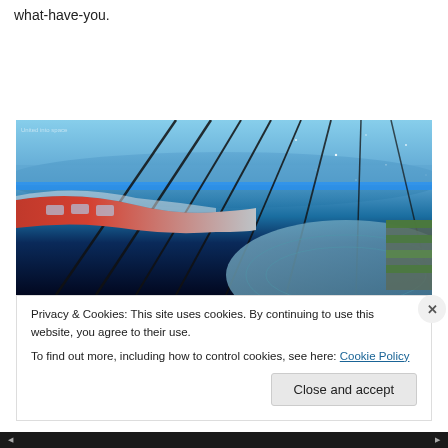what-have-you.
[Figure (photo): Futuristic space station or city concept art showing a curved glass dome structure with a monorail train, viewed against the backdrop of Earth from space with stars visible]
Privacy & Cookies: This site uses cookies. By continuing to use this website, you agree to their use.
To find out more, including how to control cookies, see here: Cookie Policy
Close and accept